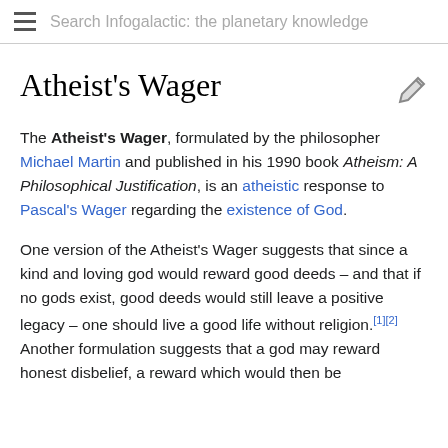Search Infogalactic: the planetary knowledge
Atheist's Wager
The Atheist's Wager, formulated by the philosopher Michael Martin and published in his 1990 book Atheism: A Philosophical Justification, is an atheistic response to Pascal's Wager regarding the existence of God.
One version of the Atheist's Wager suggests that since a kind and loving god would reward good deeds – and that if no gods exist, good deeds would still leave a positive legacy – one should live a good life without religion.[1][2] Another formulation suggests that a god may reward honest disbelief, a reward which would then be